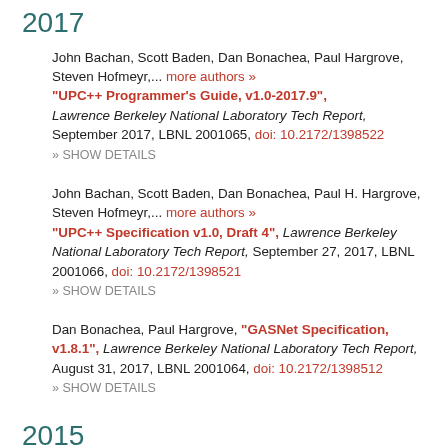2017
John Bachan, Scott Baden, Dan Bonachea, Paul Hargrove, Steven Hofmeyr,... more authors » "UPC++ Programmer's Guide, v1.0-2017.9", Lawrence Berkeley National Laboratory Tech Report, September 2017, LBNL 2001065, doi: 10.2172/1398522
» SHOW DETAILS
John Bachan, Scott Baden, Dan Bonachea, Paul H. Hargrove, Steven Hofmeyr,... more authors » "UPC++ Specification v1.0, Draft 4", Lawrence Berkeley National Laboratory Tech Report, September 27, 2017, LBNL 2001066, doi: 10.2172/1398521
» SHOW DETAILS
Dan Bonachea, Paul Hargrove, "GASNet Specification, v1.8.1", Lawrence Berkeley National Laboratory Tech Report, August 31, 2017, LBNL 2001064, doi: 10.2172/1398512
» SHOW DETAILS
2015